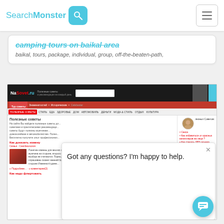SearchMonster [search icon]
camping tours on baikal area
baikal, tours, package, individual, group, off-the-beaten-path,
[Figure (screenshot): Screenshot of NaSovet.ru Russian-language website showing navigation bar, article about 'Как доказать измену' with sidebar, and a chat popup overlay saying 'Got any questions? I'm happy to help.' with a teal chat bubble button in the corner.]